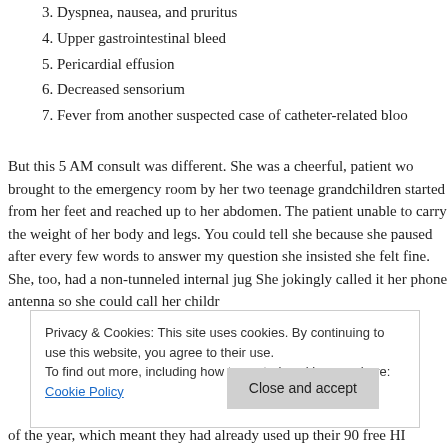3. Dyspnea, nausea, and pruritus
4. Upper gastrointestinal bleed
5. Pericardial effusion
6. Decreased sensorium
7. Fever from another suspected case of catheter-related bloo
But this 5 AM consult was different. She was a cheerful, patient wo brought to the emergency room by her two teenage grandchildren started from her feet and reached up to her abdomen. The patient unable to carry the weight of her body and legs. You could tell she because she paused after every few words to answer my question she insisted she felt fine. She, too, had a non-tunneled internal jug She jokingly called it her phone antenna so she could call her child
Privacy & Cookies: This site uses cookies. By continuing to use this website, you agree to their use. To find out more, including how to control cookies, see here: Cookie Policy
of the year, which meant they had already used up their 90 free HI